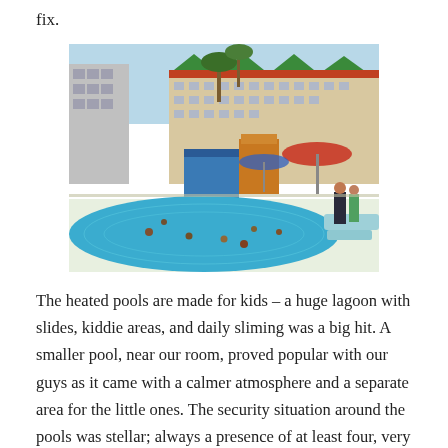fix.
[Figure (photo): Outdoor resort pool area with a large lagoon-style swimming pool in the foreground with people swimming. In the background are multi-story hotel buildings with green roof accents, a water slide structure, palm trees, and umbrellas. People are standing and walking around the pool deck.]
The heated pools are made for kids – a huge lagoon with slides, kiddie areas, and daily sliming was a big hit. A smaller pool, near our room, proved popular with our guys as it came with a calmer atmosphere and a separate area for the little ones. The security situation around the pools was stellar; always a presence of at least four, very